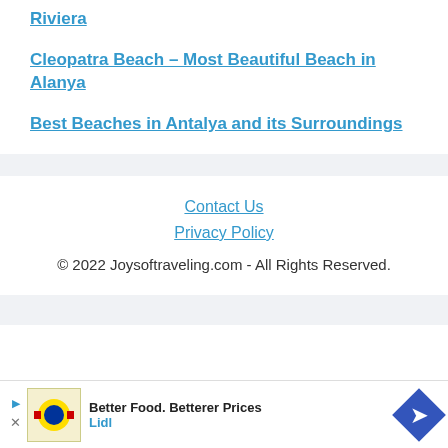Riviera
Cleopatra Beach – Most Beautiful Beach in Alanya
Best Beaches in Antalya and its Surroundings
Contact Us
Privacy Policy
© 2022 Joysoftraveling.com - All Rights Reserved.
[Figure (other): Advertisement banner: Better Food. Betterer Prices - Lidl]